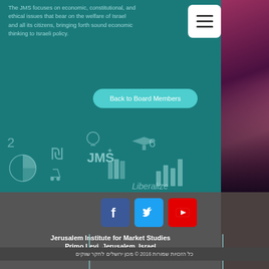The JMS focuses on economic, constitutional, and ethical issues that bear on the welfare of Israel and all its citizens, bringing forth sound economic thinking to Israeli policy.
Back to Board Members
[Figure (illustration): Decorative illustration strip with market/economics icons including JMS logo, Shekel symbol, books, pie charts, bar charts, lightbulb, graduation cap. Text 'Liberalize' visible.]
[Figure (infographic): Social media icons: Facebook (blue), Twitter (light blue), YouTube (red)]
Jerusalem Institute for Market Studies
Primo Levi, Jerusalem, Israel
jims.israel@gmail.com
כל הזכויות שמורות 2016 © מכון ירושלים לחקר שווקים